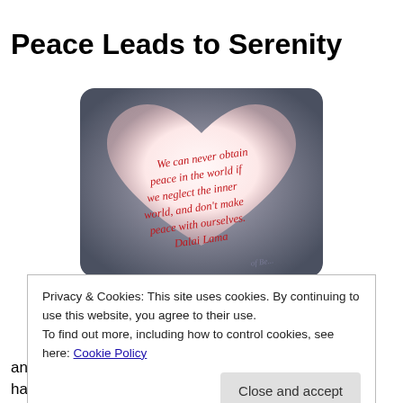Peace Leads to Serenity
[Figure (illustration): Heart-shaped image with mauve/pink gradient background, containing handwritten red cursive text: 'We can never obtain peace in the world if we neglect the inner world, and don't make peace with ourselves. Dalai Lama']
Privacy & Cookies: This site uses cookies. By continuing to use this website, you agree to their use.
To find out more, including how to control cookies, see here: Cookie Policy
Close and accept
and a bit ago, I dropped off my grandson at school,  I half